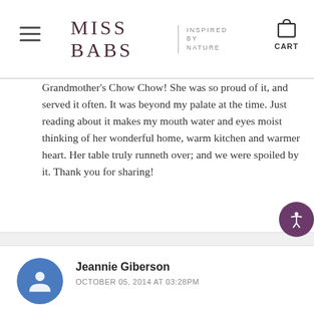MISS BABS | INSPIRED BY NATURE | CART
Grandmother's Chow Chow! She was so proud of it, and served it often. It was beyond my palate at the time. Just reading about it makes my mouth water and eyes moist thinking of her wonderful home, warm kitchen and warmer heart. Her table truly runneth over; and we were spoiled by it. Thank you for sharing!
Jeannie Giberson
OCTOBER 05, 2014 AT 03:28PM

I remember the smells and the warmth in the kitchen. Mom sure liked red pepper hash, tomato juice, and bread and butter pickles – to name jus few of the foods she canned. Thanks for the memory!